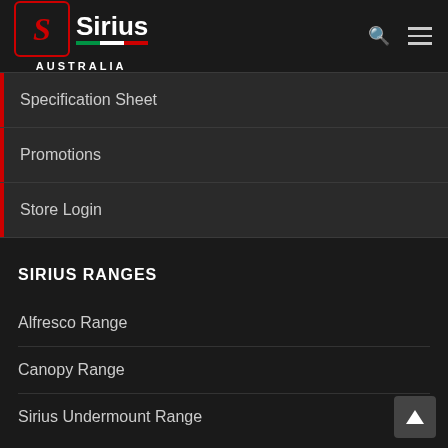[Figure (logo): Sirius Australia logo with red S icon and Italian flag stripe]
Specification Sheet
Promotions
Store Login
SIRIUS RANGES
Alfresco Range
Canopy Range
Sirius Undermount Range